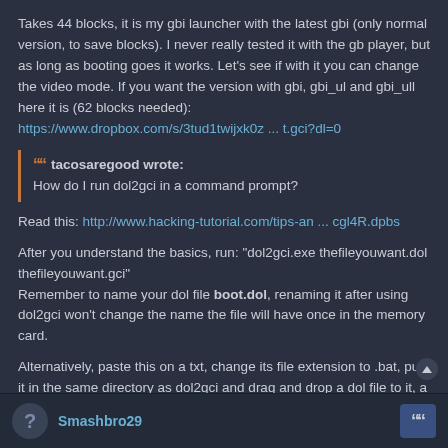Takes 44 blocks, it is my gbi launcher with the latest gbi (only normal version, to save blocks). I never really tested it with the gb player, but as long as booting goes it works. Let's see if with it you can change the video mode. If you want the version with gbi, gbi_ul and gbi_ull here it is (62 blocks needed): https://www.dropbox.com/s/3tud1twijxk0z ... t.gci?dl=0
tacosaregood wrote: How do I run dol2gci in a command prompt?
Read this: http://www.hacking-tutorial.com/tips-an ... cgl4R.dpbs
After you understand the basics, run: "dol2gci.exe thefileyouwant.dol thefileyouwant.gci"
Remember to name your dol file boot.dol, renaming it after using dol2gci won't change the name the file will have once in the memory card.
Alternatively, paste this on a txt, change its file extension to .bat, put it in the same directory as dol2gci and drag and drop a dol file to it, a gci file will be created in the same directory.
CODE: SELECT ALL
dol2gci.exe %1 %~n1.gci
Smashbro29